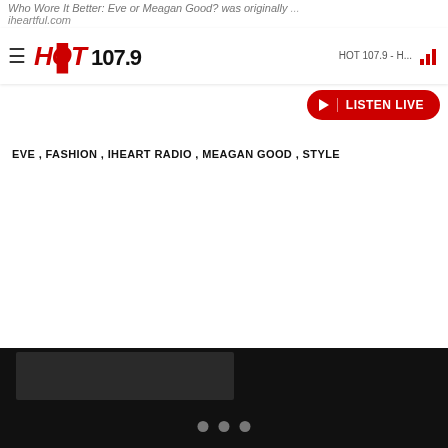Who Wore It Better: Eve or Meagan Good? was originally published on iheartful.com
HOT 107.9 - H...  ▐▌  LISTEN LIVE
EVE , FASHION , IHEART RADIO , MEAGAN GOOD , STYLE
[Figure (screenshot): White content area, largely blank, representing the main article body area of the HOT 107.9 webpage]
[Figure (screenshot): Bottom black navigation/media bar with a dark card thumbnail on the left and three grey dot indicators centered at the bottom]